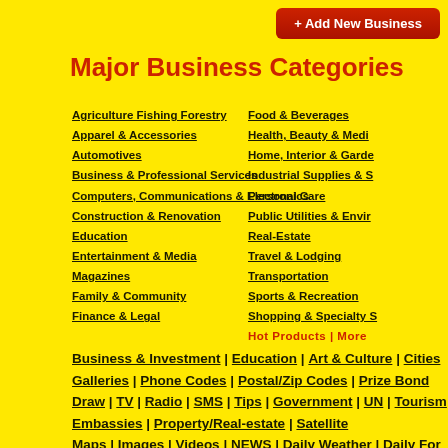+ Add New Business
Major Business Categories
Agriculture Fishing Forestry
Apparel & Accessories
Automotives
Business & Professional Services
Computers, Communications & Electronics
Construction & Renovation
Education
Entertainment & Media
Magazines
Family & Community
Finance & Legal
Food & Beverages
Health, Beauty & Medi...
Home, Interior & Garde...
Industrial Supplies & S...
Personal Care
Public Utilities & Envir...
Real-Estate
Travel & Lodging
Transportation
Sports & Recreation
Shopping & Specialty S...
Hot Products | More
Business & Investment | Education | Art & Culture | Cities | Galleries | Phone Codes | Postal/Zip Codes | Prize Bond Draw | TV | Radio | SMS | Tips | Government | UN | Tourism | Embassies | Property/Real-estate | Satellite Maps | Images | Videos | NEWS | Daily Weather | Daily For...